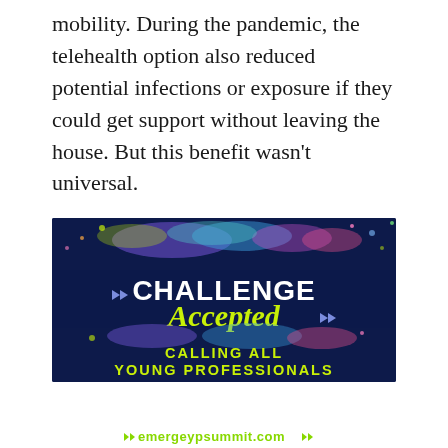mobility. During the pandemic, the telehealth option also reduced potential infections or exposure if they could get support without leaving the house. But this benefit wasn't universal.
[Figure (infographic): Advertisement banner for EMERGE Summit on 09.15.22. Dark navy blue background with colorful confetti/splatter effect at top. Text reads: CHALLENGE Accepted (in yellow-green cursive) CALLING ALL YOUNG PROFESSIONALS. Below banner: EMERGE SUMMIT logo with date 09.15.22 in yellow-green and website emergeypsummit.com.]